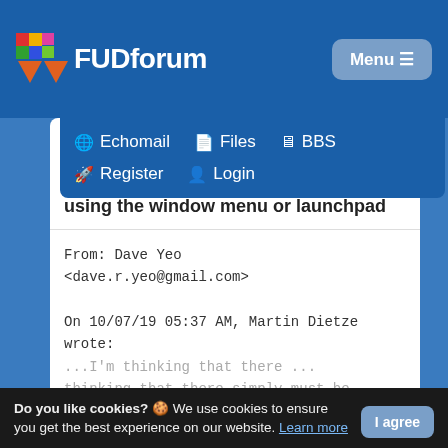FUDforum
[Figure (screenshot): FUDforum logo with colorful pixel grid icon]
Menu ☰
🌐 Echomail   📄 Files   🖥 BBS
🚀 Register   👤 Login
To: All
Date: Mon, 07.10.19 02:02
Re: Warning tone (beep) whenever using the window menu or launchpad
From: Dave Yeo
<lt;dave.r.yeo@gmail.com&gt;

On 10/07/19 05:37 AM, Martin Dietze
wrote:
...
Do you like cookies? 🍪 We use cookies to ensure you get the best experience on our website. Learn more
I agree